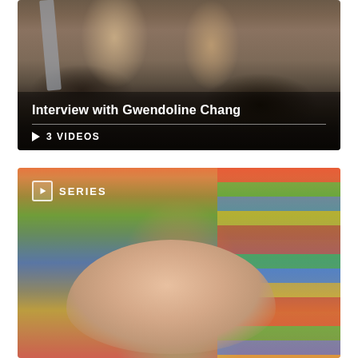[Figure (photo): Top card showing legs and high heels in an office setting with a dark overlay. Title 'Interview with Gwendoline Chang' and '3 VIDEOS' label displayed.]
[Figure (photo): Bottom card showing a smiling woman with dark hair against a colorful background with bookshelves. 'SERIES' badge displayed at top left.]